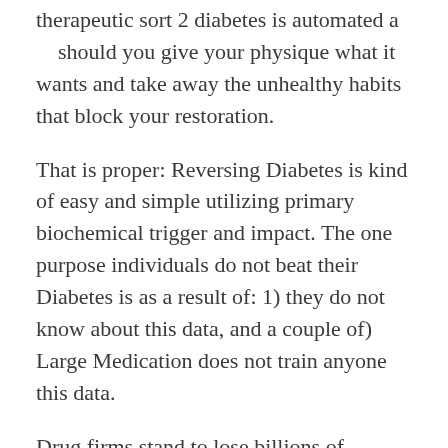therapeutic sort 2 diabetes is automated a    should you give your physique what it wants and take away the unhealthy habits that block your restoration.
That is proper: Reversing Diabetes is kind of easy and simple utilizing primary biochemical trigger and impact. The one purpose individuals do not beat their Diabetes is as a result of: 1) they do not know about this data, and a couple of) Large Medication does not train anyone this data.
Drug firms stand to lose billions of {dollars} in earnings if diabetics be taught the reality about their illness and start utilizing this easy and far more efficient method to reversing their sort 2 diabetes, normalizing blood sugar and avoiding all of the horrible diabetes problems ready for them down the